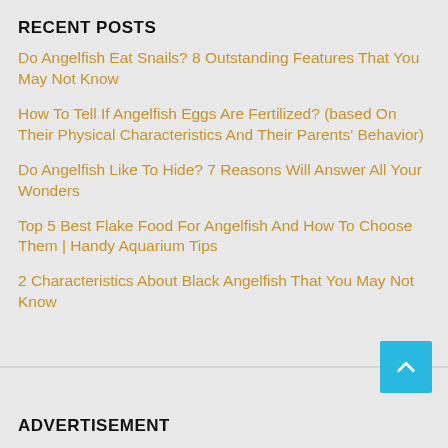RECENT POSTS
Do Angelfish Eat Snails? 8 Outstanding Features That You May Not Know
How To Tell If Angelfish Eggs Are Fertilized? (based On Their Physical Characteristics And Their Parents' Behavior)
Do Angelfish Like To Hide? 7 Reasons Will Answer All Your Wonders
Top 5 Best Flake Food For Angelfish And How To Choose Them | Handy Aquarium Tips
2 Characteristics About Black Angelfish That You May Not Know
ADVERTISEMENT